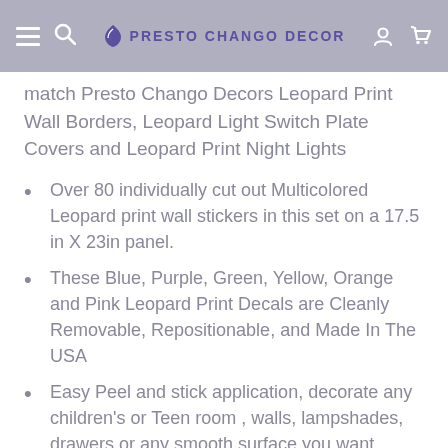PRESTO CHANGO DECOR
match Presto Chango Decors Leopard Print Wall Borders, Leopard Light Switch Plate Covers and Leopard Print Night Lights
Over 80 individually cut out Multicolored Leopard print wall stickers in this set on a 17.5 in X 23in panel.
These Blue, Purple, Green, Yellow, Orange and Pink Leopard Print Decals are Cleanly Removable, Repositionable, and Made In The USA
Easy Peel and stick application, decorate any children’s or Teen room , walls, lampshades, drawers or any smooth surface you want leopard print on in